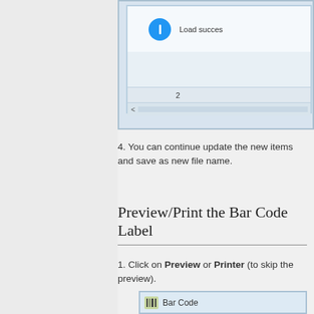[Figure (screenshot): Partial screenshot of a software dialog window showing a blue info circle with 'Load succes...' text, a data table row with number 2, and a horizontal scrollbar with left arrow.]
4. You can continue update the new items and save as new file name.
Preview/Print the Bar Code Label
1. Click on Preview or Printer (to skip the preview).
[Figure (screenshot): Bottom portion of a Bar Code application window showing a toolbar with 'Bar Code' label and icon.]